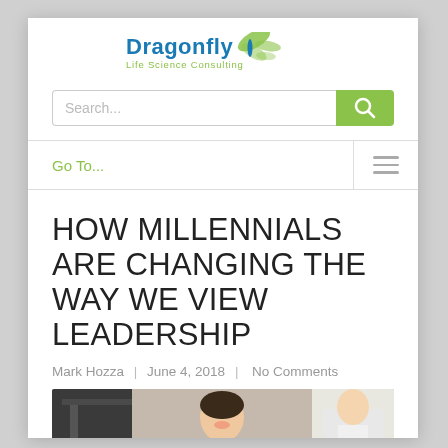[Figure (logo): Dragonfly Life Science Consulting logo with dragonfly wing graphic in green, company name in blue, and tagline in green]
[Figure (screenshot): Search bar with placeholder text 'Search...' and green search button with magnifying glass icon]
[Figure (screenshot): Navigation bar with 'Go To...' in green on left and hamburger menu icon on right]
HOW MILLENNIALS ARE CHANGING THE WAY WE VIEW LEADERSHIP
Mark Hozza | June 4, 2018 | No Comments
[Figure (photo): Photo of office workers in a meeting, a smiling woman in the center and a man in a white coat on the right]